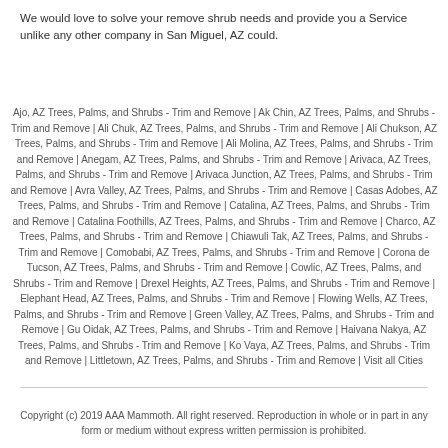We would love to solve your remove shrub needs and provide you a Service unlike any other company in San Miguel, AZ could.
Ajo, AZ Trees, Palms, and Shrubs - Trim and Remove | Ak Chin, AZ Trees, Palms, and Shrubs - Trim and Remove | Ali Chuk, AZ Trees, Palms, and Shrubs - Trim and Remove | Ali Chukson, AZ Trees, Palms, and Shrubs - Trim and Remove | Ali Molina, AZ Trees, Palms, and Shrubs - Trim and Remove | Anegam, AZ Trees, Palms, and Shrubs - Trim and Remove | Arivaca, AZ Trees, Palms, and Shrubs - Trim and Remove | Arivaca Junction, AZ Trees, Palms, and Shrubs - Trim and Remove | Avra Valley, AZ Trees, Palms, and Shrubs - Trim and Remove | Casas Adobes, AZ Trees, Palms, and Shrubs - Trim and Remove | Catalina, AZ Trees, Palms, and Shrubs - Trim and Remove | Catalina Foothills, AZ Trees, Palms, and Shrubs - Trim and Remove | Charco, AZ Trees, Palms, and Shrubs - Trim and Remove | Chiawuli Tak, AZ Trees, Palms, and Shrubs - Trim and Remove | Comobabi, AZ Trees, Palms, and Shrubs - Trim and Remove | Corona de Tucson, AZ Trees, Palms, and Shrubs - Trim and Remove | Cowlic, AZ Trees, Palms, and Shrubs - Trim and Remove | Drexel Heights, AZ Trees, Palms, and Shrubs - Trim and Remove | Elephant Head, AZ Trees, Palms, and Shrubs - Trim and Remove | Flowing Wells, AZ Trees, Palms, and Shrubs - Trim and Remove | Green Valley, AZ Trees, Palms, and Shrubs - Trim and Remove | Gu Oidak, AZ Trees, Palms, and Shrubs - Trim and Remove | Haivana Nakya, AZ Trees, Palms, and Shrubs - Trim and Remove | Ko Vaya, AZ Trees, Palms, and Shrubs - Trim and Remove | Littletown, AZ Trees, Palms, and Shrubs - Trim and Remove | Visit all Cities
Copyright (c) 2019 AAA Mammoth. All right reserved. Reproduction in whole or in part in any form or medium without express written permission is prohibited.